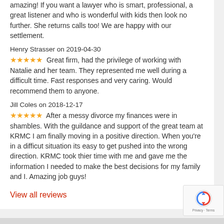amazing! If you want a lawyer who is smart, professional, a great listener and who is wonderful with kids then look no further. She returns calls too! We are happy with our settlement.
Henry Strasser on 2019-04-30
★★★★★ Great firm, had the privilege of working with Natalie and her team. They represented me well during a difficult time. Fast responses and very caring. Would recommend them to anyone.
Jill Coles on 2018-12-17
★★★★★ After a messy divorce my finances were in shambles. With the guildance and support of the great team at KRMC I am finally moving in a positive direction. When you're in a difficut situation its easy to get pushed into the wrong direction. KRMC took thier time with me and gave me the information I needed to make the best decisions for my family and I. Amazing job guys!
View all reviews